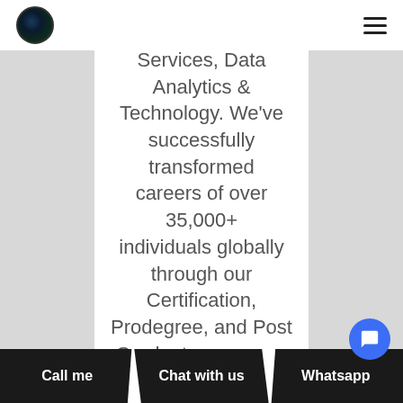Services, Data Analytics & Technology. We've successfully transformed careers of over 35,000+ individuals globally through our Certification, Prodegree, and Post Graduate programs offered in association with leading and renowned global organisations in the Financial Services, Data Analytics & Technology domain.
Call me | Chat with us | Whatsapp